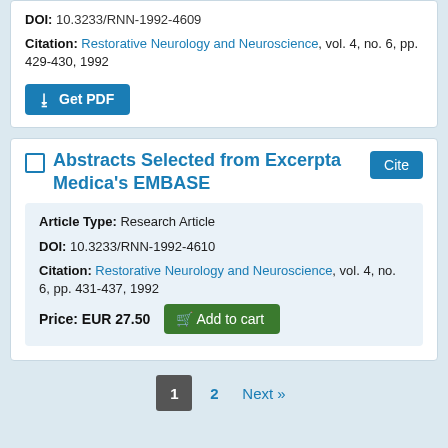DOI: 10.3233/RNN-1992-4609
Citation: Restorative Neurology and Neuroscience, vol. 4, no. 6, pp. 429-430, 1992
Get PDF
Abstracts Selected from Excerpta Medica's EMBASE
Article Type: Research Article
DOI: 10.3233/RNN-1992-4610
Citation: Restorative Neurology and Neuroscience, vol. 4, no. 6, pp. 431-437, 1992
Price: EUR 27.50  Add to cart
1  2  Next »